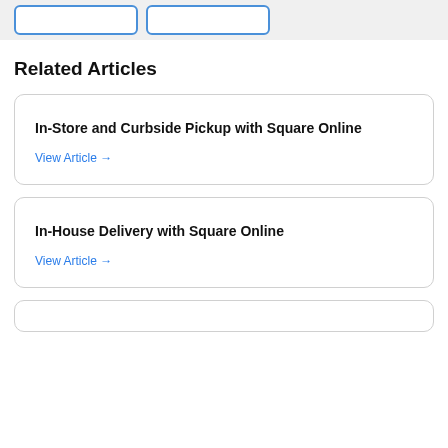Related Articles
In-Store and Curbside Pickup with Square Online
View Article →
In-House Delivery with Square Online
View Article →